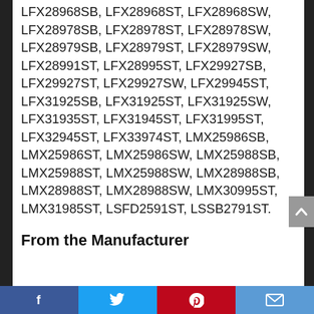LFX28968SB, LFX28968ST, LFX28968SW, LFX28978SB, LFX28978ST, LFX28978SW, LFX28979SB, LFX28979ST, LFX28979SW, LFX28991ST, LFX28995ST, LFX29927SB, LFX29927ST, LFX29927SW, LFX29945ST, LFX31925SB, LFX31925ST, LFX31925SW, LFX31935ST, LFX31945ST, LFX31995ST, LFX32945ST, LFX33974ST, LMX25986SB, LMX25986ST, LMX25986SW, LMX25988SB, LMX25988ST, LMX25988SW, LMX28988SB, LMX28988ST, LMX28988SW, LMX30995ST, LMX31985ST, LSFD2591ST, LSSB2791ST.
From the Manufacturer